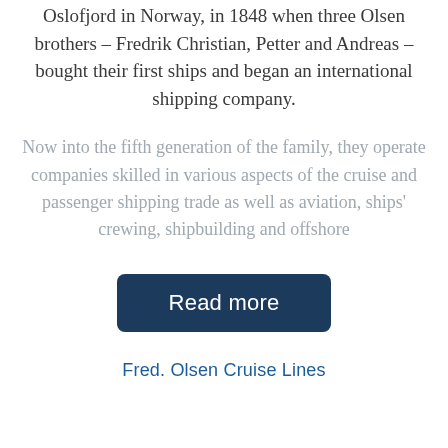Oslofjord in Norway, in 1848 when three Olsen brothers – Fredrik Christian, Petter and Andreas – bought their first ships and began an international shipping company.
Now into the fifth generation of the family, they operate companies skilled in various aspects of the cruise and passenger shipping trade as well as aviation, ships' crewing, shipbuilding and offshore
Read more
Fred. Olsen Cruise Lines